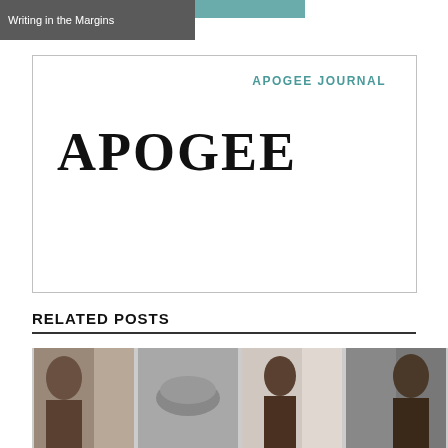Writing in the Margins
[Figure (logo): Apogee Journal logo card with teal 'APOGEE JOURNAL' text and large bold black 'APOGEE' text inside a bordered rectangle]
RELATED POSTS
[Figure (photo): Row of four related post thumbnail photos showing people and objects]